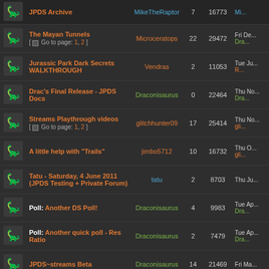|  | Topic | Author | Replies | Views | Last Post |
| --- | --- | --- | --- | --- | --- |
| [icon] | JPDS Archive | MikeTheRaptor | 7 | 16773 | Mi... |
| [icon] | The Mayan Tunnels [Go to page: 1, 2] | Microceratops | 22 | 29472 | Fri De... Dra... |
| [icon] | Jurassic Park Dark Secrets WALKTHROUGH | Vendras | 2 | 11053 | Tue Ju... R... |
| [icon] | Drac's Final Release - JPDS Docs | Draconisaurus | 0 | 22464 | Thu No... Dra... |
| [icon] | Streams Playthrough videos [Go to page: 1, 2] | glitchhunter09 | 17 | 25414 | Thu No... gli... |
| [icon] | A little help with "Trails" | jimbo5712 | 10 | 16732 | Thu O... gli... |
| [icon] | Tatu - Saturday, 4 June 2011 (JPDS Testing + Private Forum) | tatu | 2 | 8703 | Thu Ju... |
| [icon] | Poll: Another DS Poll! | Draconisaurus | 4 | 9983 | Tue Ap... Dra... |
| [icon] | Poll: Another quick poll - Res Ratio | Draconisaurus | 2 | 7479 | Tue Ap... Dra... |
| [icon] | JPDS~streams Beta | Draconisaurus | 14 | 21469 | Fri Ma... |
| [icon] | JPDS Hype Machine [Go to page: 1, 2] | makairu | 21 | 28921 | Thu De... Dra... |
| [icon] | Ta-To-Do | Draconisaurus | 0 | 22109 | Mon S... Dra... |